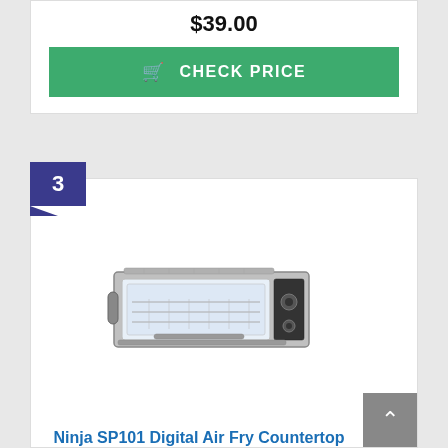$39.00
CHECK PRICE
3
[Figure (photo): Ninja SP101 Digital Air Fry Countertop Oven product photo, stainless steel with glass door and control panel]
Ninja SP101 Digital Air Fry Countertop Oven with...
Prime